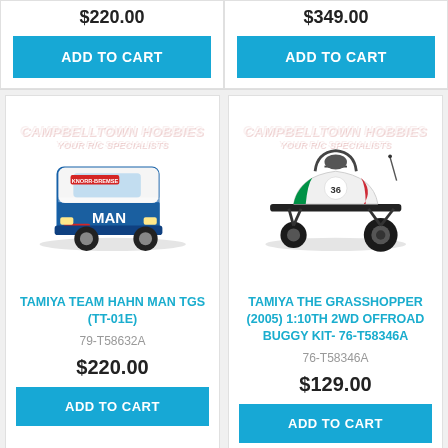$220.00
$349.00
ADD TO CART
ADD TO CART
[Figure (photo): RC model truck - Tamiya Team Hahn MAN TGS (TT-01E), white and blue livery with KNORR-BREMSE and BOSCH branding. Campbelltown Hobbies watermark visible.]
[Figure (photo): RC model buggy - Tamiya The Grasshopper (2005) 1:10th 2WD Offroad Buggy Kit, white with red/green Italian flag stripe livery. Campbelltown Hobbies watermark visible.]
TAMIYA TEAM HAHN MAN TGS (TT-01E)
79-T58632A
$220.00
TAMIYA THE GRASSHOPPER (2005) 1:10TH 2WD OFFROAD BUGGY KIT- 76-T58346A
76-T58346A
$129.00
ADD TO CART
ADD TO CART